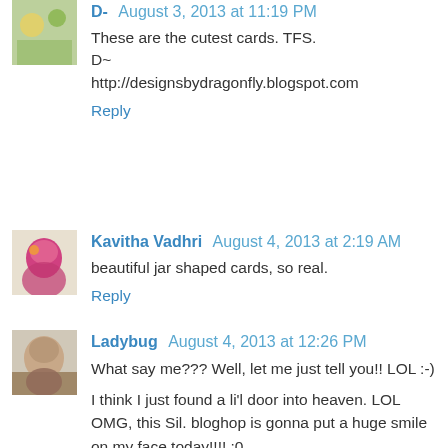D- August 3, 2013 at 11:19 PM
These are the cutest cards. TFS.
D~
http://designsbydragonfly.blogspot.com
Reply
Kavitha Vadhri August 4, 2013 at 2:19 AM
beautiful jar shaped cards, so real.
Reply
Ladybug August 4, 2013 at 12:26 PM
What say me??? Well, let me just tell you!! LOL :-)
I think I just found a li'l door into heaven. LOL OMG, this Sil. bloghop is gonna put a huge smile on my face today!!!! :0
Your mason jars are just tooooooo cute. TFS! My fav. is the one w/ the cherry topper. Reminds me of an actual cloth topper. Sweet!!! :-)